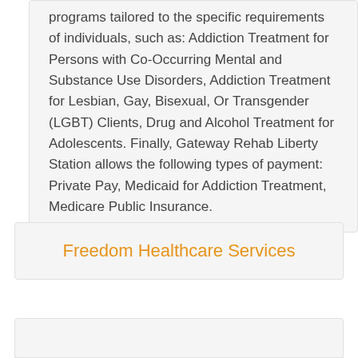programs tailored to the specific requirements of individuals, such as: Addiction Treatment for Persons with Co-Occurring Mental and Substance Use Disorders, Addiction Treatment for Lesbian, Gay, Bisexual, Or Transgender (LGBT) Clients, Drug and Alcohol Treatment for Adolescents. Finally, Gateway Rehab Liberty Station allows the following types of payment: Private Pay, Medicaid for Addiction Treatment, Medicare Public Insurance.
Freedom Healthcare Services